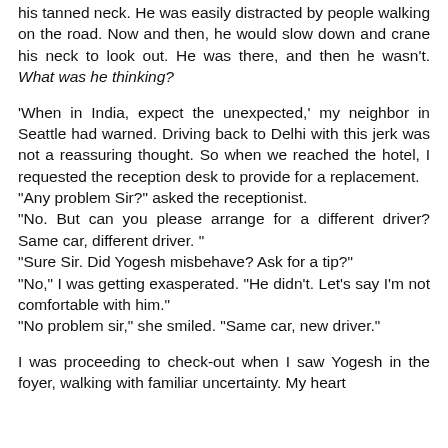his tanned neck. He was easily distracted by people walking on the road. Now and then, he would slow down and crane his neck to look out. He was there, and then he wasn't. What was he thinking?
'When in India, expect the unexpected,' my neighbor in Seattle had warned. Driving back to Delhi with this jerk was not a reassuring thought. So when we reached the hotel, I requested the reception desk to provide for a replacement.
"Any problem Sir?" asked the receptionist.
"No. But can you please arrange for a different driver? Same car, different driver. "
"Sure Sir. Did Yogesh misbehave? Ask for a tip?"
"No," I was getting exasperated. "He didn't. Let's say I'm not comfortable with him."
"No problem sir," she smiled. "Same car, new driver."
I was proceeding to check-out when I saw Yogesh in the foyer, walking with familiar uncertainty. My heart